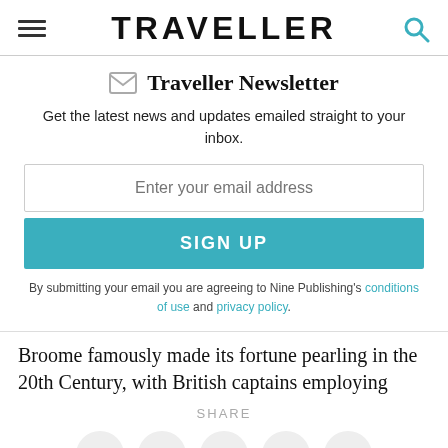TRAVELLER
Traveller Newsletter
Get the latest news and updates emailed straight to your inbox.
Enter your email address
SIGN UP
By submitting your email you are agreeing to Nine Publishing's conditions of use and privacy policy.
Broome famously made its fortune pearling in the 20th Century, with British captains employing
SHARE